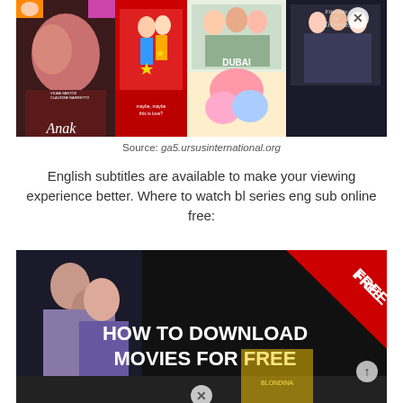[Figure (photo): A collage of Filipino movie posters including titles like 'Anak', 'Dubai', 'Etiquette for Mistresses', and others with a close (X) button overlay.]
Source: ga5.ursusinternational.org
English subtitles are available to make your viewing experience better. Where to watch bl series eng sub online free:
[Figure (screenshot): A dark promotional image with text 'HOW TO DOWNLOAD MOVIES FOR FREE STEP BY STEP METHOD' and a red 'FREE' banner in the top right corner, with a close (X) button overlay and Filipino movie posters visible.]